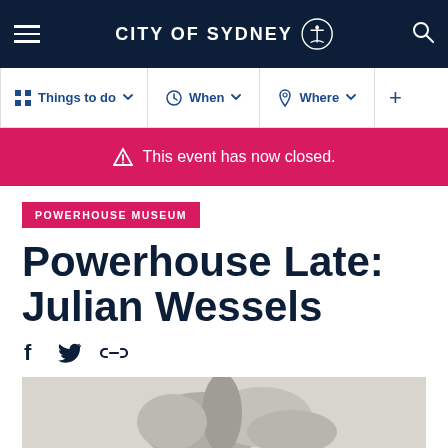CITY OF SYDNEY
Things to do  When  Where
This event has now closed.
POWERHOUSE MUSEUM
Powerhouse Late: Julian Wessels
[Figure (photo): Black and white close-up photo visible at the bottom of the page]